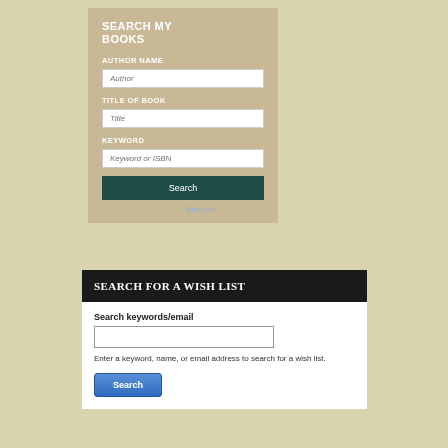SEARCH MY BOOKS
AUTHOR NAME
TITLE OF BOOK
KEYWORD
Powered by Biblio.com
SEARCH FOR A WISH LIST
Search keywords/email
Enter a keyword, name, or email address to search for a wish list.